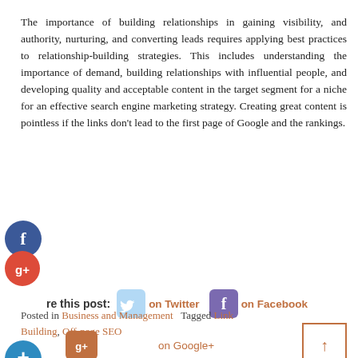The importance of building relationships in gaining visibility, and authority, nurturing, and converting leads requires applying best practices to relationship-building strategies. This includes understanding the importance of demand, building relationships with influential people, and developing quality and acceptable content in the target segment for a niche for an effective search engine marketing strategy. Creating great content is pointless if the links don't lead to the first page of Google and the rankings.
[Figure (infographic): Social sharing icons: Facebook blue circle, Google+ red circle, Twitter blue rounded button, Facebook purple rounded button, Google+ orange rounded button, plus blue circle. Share this post row with on Twitter and on Facebook links.]
Posted in Business and Management   Tagged Link Building, Off-page SEO